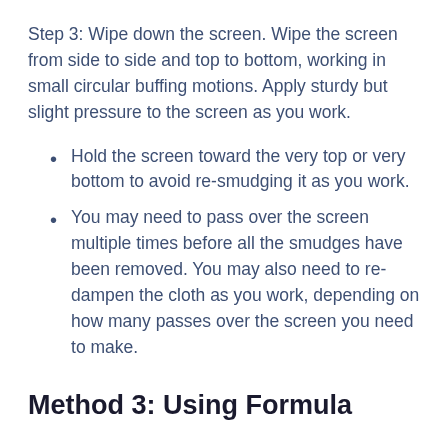Step 3: Wipe down the screen. Wipe the screen from side to side and top to bottom, working in small circular buffing motions. Apply sturdy but slight pressure to the screen as you work.
Hold the screen toward the very top or very bottom to avoid re-smudging it as you work.
You may need to pass over the screen multiple times before all the smudges have been removed. You may also need to re-dampen the cloth as you work, depending on how many passes over the screen you need to make.
Method 3: Using Formula